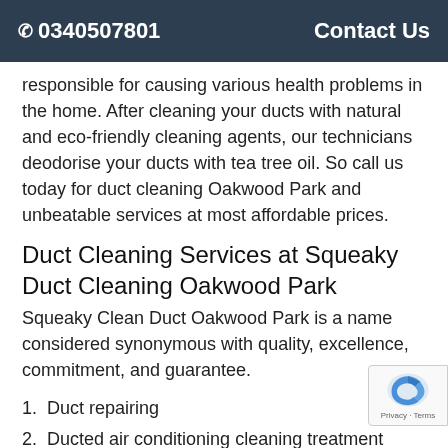☎ 0340507801   Contact Us
responsible for causing various health problems in the home. After cleaning your ducts with natural and eco-friendly cleaning agents, our technicians deodorise your ducts with tea tree oil. So call us today for duct cleaning Oakwood Park and unbeatable services at most affordable prices.
Duct Cleaning Services at Squeaky Duct Cleaning Oakwood Park
Squeaky Clean Duct Oakwood Park is a name considered synonymous with quality, excellence, commitment, and guarantee.
1. Duct repairing
2. Ducted air conditioning cleaning treatment
3. Carbon monoxide testing